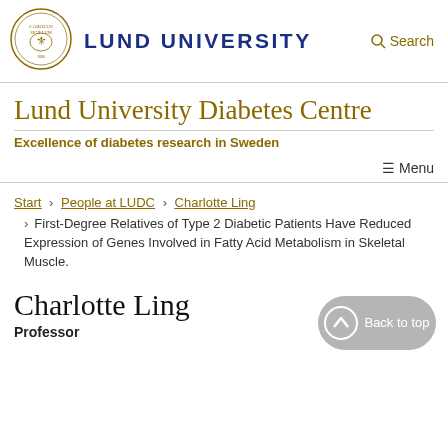[Figure (logo): Lund University circular seal/crest in gold]
LUND UNIVERSITY  Search
Lund University Diabetes Centre
Excellence of diabetes research in Sweden
≡ Menu
Start › People at LUDC › Charlotte Ling › First-Degree Relatives of Type 2 Diabetic Patients Have Reduced Expression of Genes Involved in Fatty Acid Metabolism in Skeletal Muscle.
Charlotte Ling
Professor